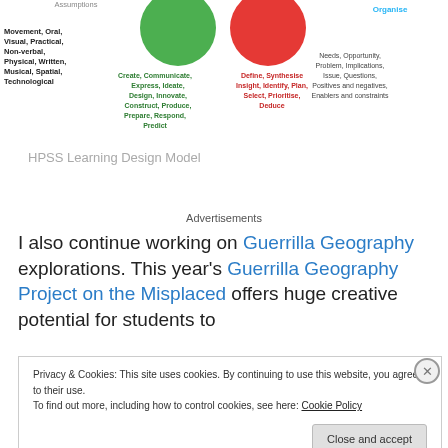[Figure (infographic): HPSS Learning Design Model diagram showing colored circles and keyword clusters: green circle with Create/Communicate/Express/Ideate/Design/Innovate/Construct/Produce/Prepare/Respond/Predict; red circle with Define/Synthesise/Insight/Identify/Plan/Select/Prioritise/Deduce; blue text Organise; black text Movement/Oral/Visual/Practical/Non-verbal/Physical/Written/Musical/Spatial/Technological; red/dark text Needs/Opportunity/Problem/Implications/Issue/Questions/Positives and negatives/Enablers and constraints]
HPSS Learning Design Model
Advertisements
I also continue working on Guerrilla Geography explorations. This year's Guerrilla Geography Project on the Misplaced offers huge creative potential for students to
Privacy & Cookies: This site uses cookies. By continuing to use this website, you agree to their use.
To find out more, including how to control cookies, see here: Cookie Policy